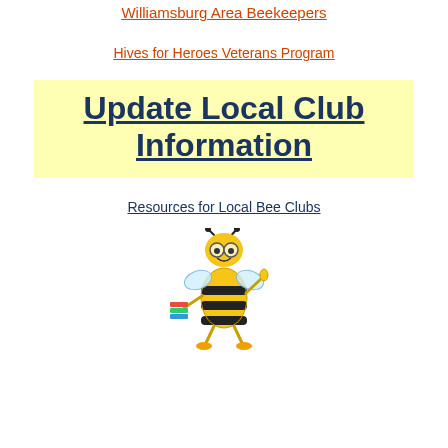Williamsburg Area Beekeepers
Hives for Heroes Veterans Program
Update Local Club Information
Resources for Local Bee Clubs
[Figure (illustration): Cartoon bee wearing glasses, holding books in one hand and pointing up with the other hand, with black and yellow stripes on its body and yellow shoes.]